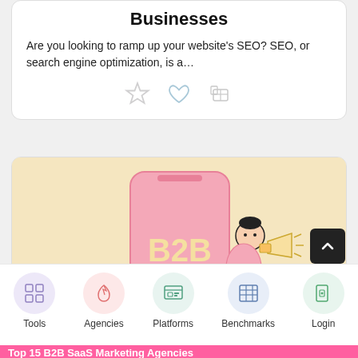Businesses
Are you looking to ramp up your website’s SEO? SEO, or search engine optimization, is a…
[Figure (illustration): Three light-colored icons: a star, a heart, and a bookmark/like icon arranged horizontally]
[Figure (illustration): B2B marketing illustration: a large pink smartphone with 'B2B' text on screen, a cartoon person with a megaphone leaning against it, on a warm beige/yellow background]
[Figure (other): Bottom navigation bar with five circular icon buttons: Tools (purple, grid icon), Agencies (pink, rocket icon), Platforms (teal, browser icon), Benchmarks (blue, table icon), Login (green, door icon)]
Top 15 B2B SaaS Marketing Agencies